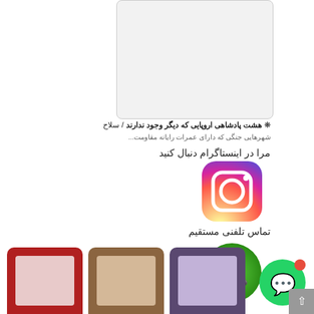[Figure (screenshot): Gray rounded rectangle box at top right, partially visible, appears to be a content/text container]
❋ هشت پادشاهی اروپایی که دیگر وجود ندارند / سلاح
شهرهایی جنگی که دارای عمرات رایانه مقاومت...
مرا در اینستاگرام دنبال کنید
[Figure (logo): Instagram logo icon with gradient background (purple, pink, orange)]
تماس تلفنی مستقیم
[Figure (logo): Green phone/call button icon with white telephone handset]
[Figure (illustration): Three colored rounded square icons at bottom: red, tan/brown, purple-grey]
[Figure (logo): WhatsApp floating chat button (green circle with white phone icon and red notification dot)]